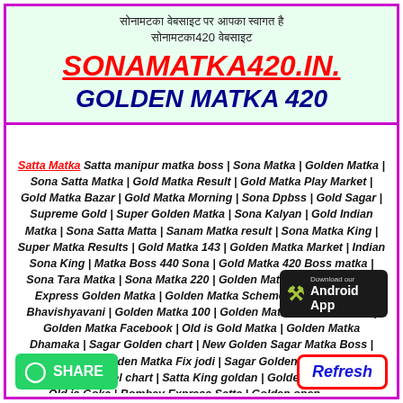सोनामटका वेबसाइट पर आपका स्वागत है - SONAMATKA420.IN. - GOLDEN MATKA 420
Satta Matka Satta manipur matka boss | Sona Matka | Golden Matka | Sona Satta Matka | Gold Matka Result | Gold Matka Play Market | Gold Matka Bazar | Gold Matka Morning | Sona Dpbss | Gold Sagar | Supreme Gold | Super Golden Matka | Sona Kalyan | Gold Indian Matka | Sona Satta Matta | Sanam Matka result | Sona Matka King | Super Matka Results | Gold Matka 143 | Golden Matka Market | Indian Sona King | Matka Boss 440 Sona | Gold Matka 420 Boss matka | Sona Tara Matka | Sona Matka 220 | Golden Matka Boss | Bombay Express Golden Matka | Golden Matka Scheme | Golden Matka Bhavishyavani | Golden Matka 100 | Golden Matka Golden Matka | Golden Matka Facebook | Old is Gold Matka | Golden Matka Dhamaka | Sagar Golden chart | New Golden Sagar Matka Boss | Golden Matka golden Matka Fix jodi | Sagar Golden result | Golden Bazar Bazar panel chart | Satta King goldan | Golden Matka Boss | Old is Gold Matka | Bombay Express Satta | Golden open matkaboss440.website